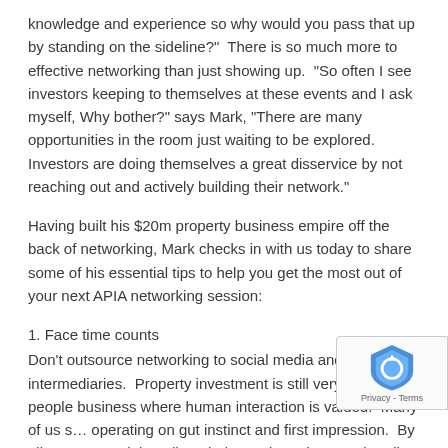knowledge and experience so why would you pass that up by standing on the sideline?"  There is so much more to effective networking than just showing up.  "So often I see investors keeping to themselves at these events and I ask myself, Why bother?" says Mark, "There are many opportunities in the room just waiting to be explored.  Investors are doing themselves a great disservice by not reaching out and actively building their network."
Having built his $20m property business empire off the back of networking, Mark checks in with us today to share some of his essential tips to help you get the most out of your next APIA networking session:
1. Face time counts
Don't outsource networking to social media and third party intermediaries.  Property investment is still very much a people business where human interaction is valued.  Many of us s… operating on gut instinct and first impression.  By all mean… social media to help you hone in on a short list of people to add to